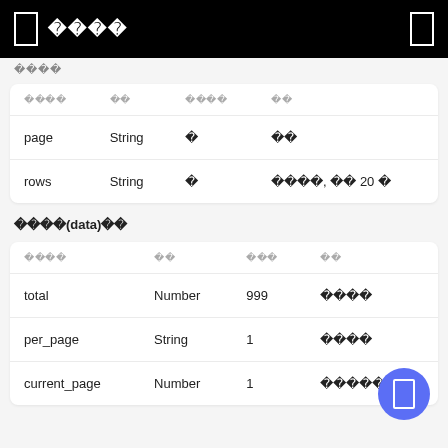□ □□□□ □
□□□□
| □□□□ | □□ | □□□□ | □□ |
| --- | --- | --- | --- |
| page | String | □ | □□ |
| rows | String | □ | □□□□, □□ 20 □ |
□□□□(data)□□
| □□□□ | □□ | □□□ | □□ |
| --- | --- | --- | --- |
| total | Number | 999 | □□□□ |
| per_page | String | 1 | □□□□ |
| current_page | Number | 1 | □□□□□□ |